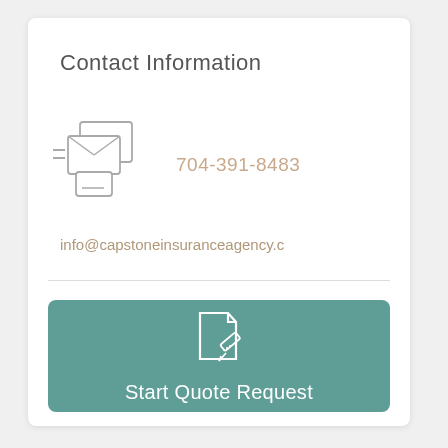Contact Information
[Figure (illustration): Communication/contact icon showing an envelope in front of stacked chat/document frames with small dash lines on the left side]
704-391-8483
info@capstoneinsuranceagency.c
[Figure (illustration): Document with folded corner and a pen/pencil icon (quote request icon) in white on teal background]
Start Quote Request